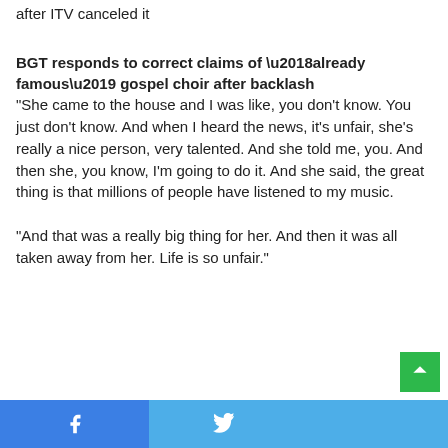after ITV canceled it
BGT responds to correct claims of ‘already famous’ gospel choir after backlash
“She came to the house and I was like, you don’t know. You just don’t know. And when I heard the news, it’s unfair, she’s really a nice person, very talented. And she told me, you. And then she, you know, I’m going to do it. And she said, the great thing is that millions of people have listened to my music.
“And that was a really big thing for her. And then it was all taken away from her. Life is so unfair.”
Facebook | Twitter